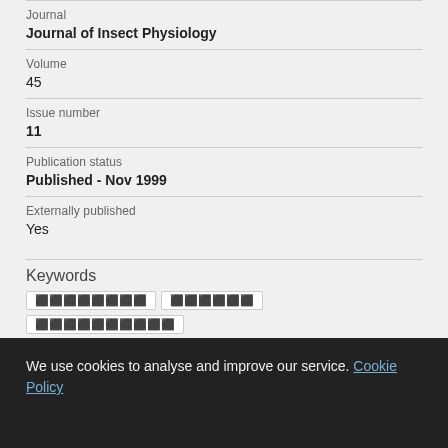Journal
Journal of Insect Physiology
Volume
45
Issue number
11
Publication status
Published - Nov 1999
Externally published
Yes
Keywords
We use cookies to analyse and improve our service. Cookie Policy